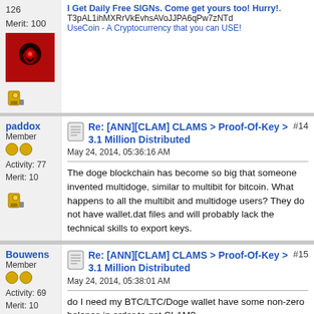126
Merit: 100
[Figure (photo): Red avatar image with Horde symbol (World of Warcraft)]
I Get Daily Free SIGNs. Come get yours too! Hurry!. T3pAL1ihMXRrVkEvhsAVoJJPA6qPw7zNTd UseCoin - A Cryptocurrency that you can USE!
Re: [ANN][CLAM] CLAMS > Proof-Of-Key > 3.1 Million Distributed #14
May 24, 2014, 05:36:16 AM
paddox
Member
Activity: 77
Merit: 10
The doge blockchain has become so big that someone invented multidoge, similar to multibit for bitcoin. What happens to all the multibit and multidoge users? They do not have wallet.dat files and will probably lack the technical skills to export keys.
Re: [ANN][CLAM] CLAMS > Proof-Of-Key > 3.1 Million Distributed #15
May 24, 2014, 05:38:01 AM
Bouwens
Member
Activity: 69
Merit: 10
do I need my BTC/LTC/Doge wallet have some non-zero  balance in order to get CLAM?